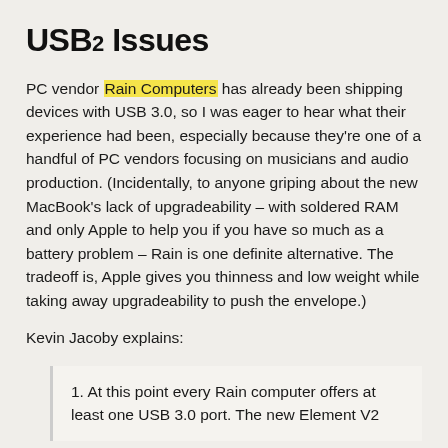USB2 Issues
PC vendor Rain Computers has already been shipping devices with USB 3.0, so I was eager to hear what their experience had been, especially because they're one of a handful of PC vendors focusing on musicians and audio production. (Incidentally, to anyone griping about the new MacBook's lack of upgradeability – with soldered RAM and only Apple to help you if you have so much as a battery problem – Rain is one definite alternative. The tradeoff is, Apple gives you thinness and low weight while taking away upgradeability to push the envelope.)
Kevin Jacoby explains:
1. At this point every Rain computer offers at least one USB 3.0 port. The new Element V2